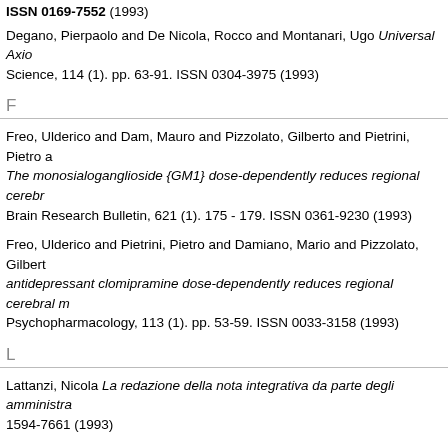ISSN 0169-7552 (1993)
Degano, Pierpaolo and De Nicola, Rocco and Montanari, Ugo Universal Axioms for Science, 114 (1). pp. 63-91. ISSN 0304-3975 (1993)
F
Freo, Ulderico and Dam, Mauro and Pizzolato, Gilberto and Pietrini, Pietro a The monosialoganglioside {GM1} dose-dependently reduces regional cerebr Brain Research Bulletin, 621 (1). 175 - 179. ISSN 0361-9230 (1993)
Freo, Ulderico and Pietrini, Pietro and Damiano, Mario and Pizzolato, Gilbert antidepressant clomipramine dose-dependently reduces regional cerebral m Psychopharmacology, 113 (1). pp. 53-59. ISSN 0033-3158 (1993)
L
Lattanzi, Nicola La redazione della nota integrativa da parte degli amministra 1594-7661 (1993)
P
Pietrini, Pietro and Azari, Nina P. and Grady, Cheryl L. and Salerno, Judith A. Pettigrew, Karen D. and Horwitz, Barry and Haxby, James V. and Schapiro, M in a subject with isolated amnesia at risk for Alzheimer's disease: A longitudi 1013-7424 (1993)